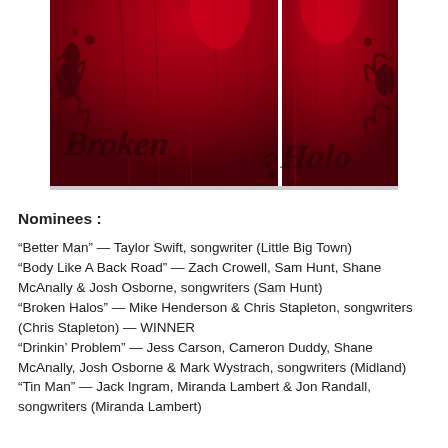[Figure (photo): Red theatrical curtains with decorative dark floral/scroll patterns. Text 'Broken Halos' visible in stylized dark lettering on the red background. The curtains appear to be parted slightly in the center.]
Nominees :
“Better Man” — Taylor Swift, songwriter (Little Big Town)
“Body Like A Back Road” — Zach Crowell, Sam Hunt, Shane McAnally & Josh Osborne, songwriters (Sam Hunt)
“Broken Halos” — Mike Henderson & Chris Stapleton, songwriters (Chris Stapleton) — WINNER
“Drinkin’ Problem” — Jess Carson, Cameron Duddy, Shane McAnally, Josh Osborne & Mark Wystrach, songwriters (Midland)
“Tin Man” — Jack Ingram, Miranda Lambert & Jon Randall, songwriters (Miranda Lambert)